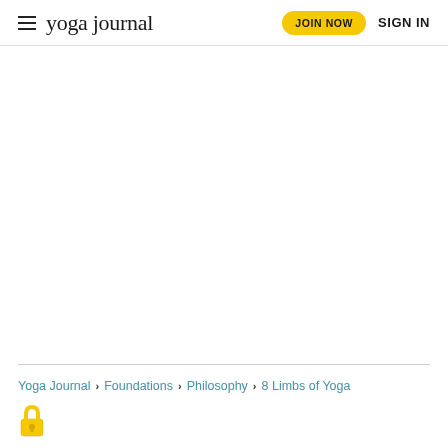yoga journal | JOIN NOW | SIGN IN
[Figure (other): Large blank white content area (advertisement or image placeholder)]
Yoga Journal > Foundations > Philosophy > 8 Limbs of Yoga
[Figure (other): Lock/padlock icon indicating premium/paywalled content]